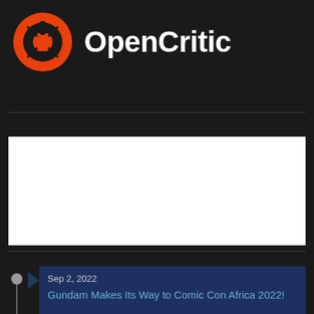[Figure (logo): OpenCritic logo: orange circular icon with controller button symbols and OpenCritic text in white bold font]
[Figure (other): White advertisement placeholder rectangle]
Sep 2, 2022
Gundam Makes Its Way to Comic Con Africa 2022!